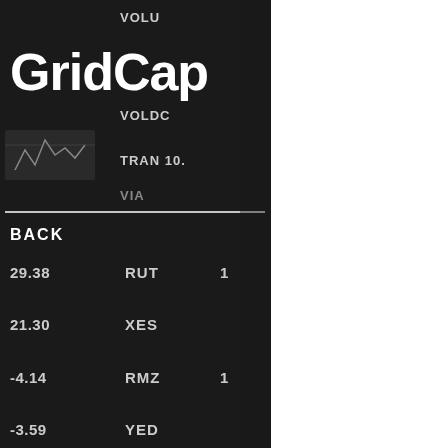[Figure (screenshot): Partial screenshot of a financial market data terminal or app showing 'GridCap' branding (text cut off), with a dark background and white text displaying stock/index data including rows: VOLO (cut), VOLDC, TRAN 10. (cut), VIA (cut), BACK label with a horizontal white line separator, then rows: 29.38 RUT 1(cut), 21.30 XES, -4.14 RMZ 1(cut), -3.59(partial) YED(cut). A small candlestick chart icon is visible in the lower left area.]